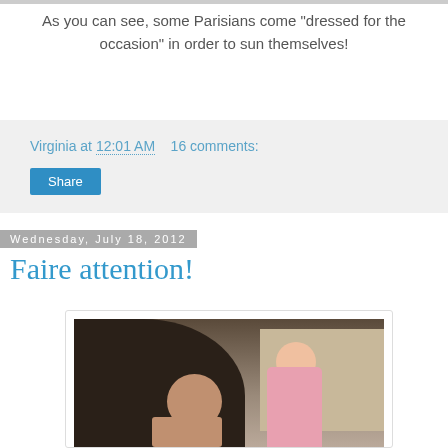As you can see, some Parisians come "dressed for the occasion" in order to sun themselves!
Virginia at 12:01 AM   16 comments:
Share
Wednesday, July 18, 2012
Faire attention!
[Figure (photo): Two people standing under a stone archway, one with a bald head wearing dark clothing, another in pink clothing, in what appears to be a Parisian architectural setting.]